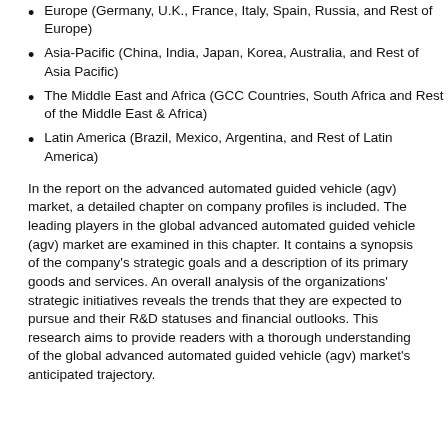Europe (Germany, U.K., France, Italy, Spain, Russia, and Rest of Europe)
Asia-Pacific (China, India, Japan, Korea, Australia, and Rest of Asia Pacific)
The Middle East and Africa (GCC Countries, South Africa and Rest of the Middle East & Africa)
Latin America (Brazil, Mexico, Argentina, and Rest of Latin America)
In the report on the advanced automated guided vehicle (agv) market, a detailed chapter on company profiles is included. The leading players in the global advanced automated guided vehicle (agv) market are examined in this chapter. It contains a synopsis of the company’s strategic goals and a description of its primary goods and services. An overall analysis of the organizations’ strategic initiatives reveals the trends that they are expected to pursue and their R&D statuses and financial outlooks. This research aims to provide readers with a thorough understanding of the global advanced automated guided vehicle (agv) market’s anticipated trajectory.